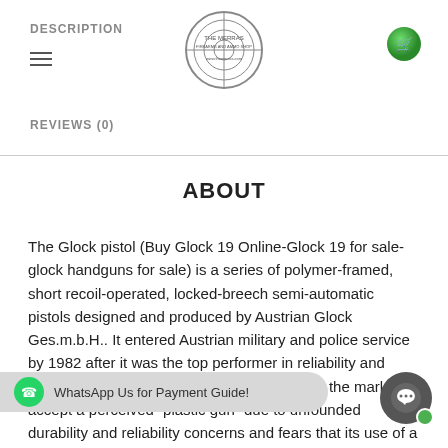DESCRIPTION
REVIEWS (0)
ABOUT
The Glock pistol (Buy Glock 19 Online-Glock 19 for sale-glock handguns for sale) is a series of polymer-framed, short recoil-operated, locked-breech semi-automatic pistols designed and produced by Austrian Glock Ges.m.b.H.. It entered Austrian military and police service by 1982 after it was the top performer in reliability and safety tests. [5]Despite initial resistance from the market to accept a perceived “plastic gun” due to unfounded durability and reliability concerns and fears that its use of a polymer frame might circumvent metal detectors in airports, Glock pistols have become the company’s most profitable line of pro… forces, security agencies,